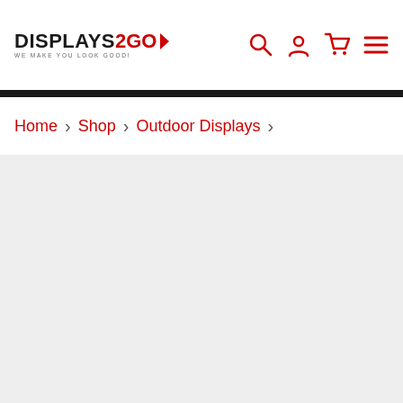DISPLAYS2GO - WE MAKE YOU LOOK GOOD! [Header with search, account, cart, menu icons]
Home › Shop › Outdoor Displays ›